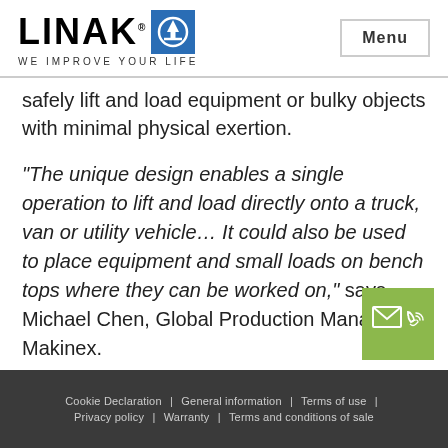LINAK® WE IMPROVE YOUR LIFE | Menu
safely lift and load equipment or bulky objects with minimal physical exertion.
“The unique design enables a single operation to lift and load directly onto a truck, van or utility vehicle… It could also be used to place equipment and small loads on bench tops where they can be worked on,” says Michael Chen, Global Production Manager at Makinex.
Cookie Declaration | General information | Terms of use | Privacy policy | Warranty | Terms and conditions of sale